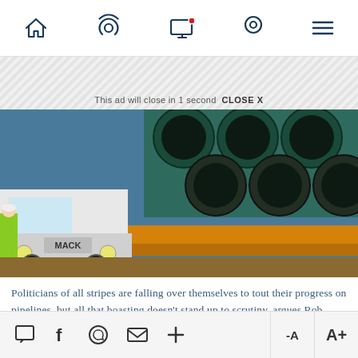Navigation bar with home, radio/live, screen/notification, location, and menu icons
This ad will close in 1 second  CLOSE X
[Figure (photo): A Mack truck hauling large steel pipeline sections on a flatbed trailer at a construction site. A worker in a yellow safety vest and hard hat is visible on the left. The pipes are large diameter and stacked in rows.]
Politicians of all stripes are falling over themselves to tout their progress on pipelines, but all that boasting doesn't stand up to scrutiny, argues Rob Breakenridge. Nati Harnik/AP/File
Comment, Facebook, WhatsApp, Email, Plus, -A, A+ buttons